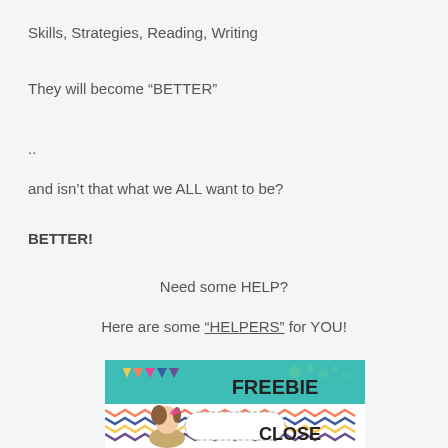Skills, Strategies, Reading, Writing
They will become “BETTER”
..
and isn’t that what we ALL want to be?
BETTER!
Need some HELP?
Here are some “HELPERS” for YOU!
[Figure (illustration): Colorful educational 'FREEBIE' banner with teal background, bunting flags, chevron pattern, a cartoon girl character, and text 'CLOSE' at the bottom right.]